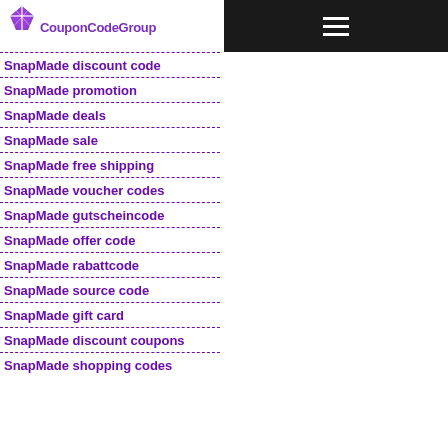[Figure (logo): CouponCodeGroup logo with purple star/diamond icon and purple text]
SnapMade discount code
SnapMade promotion
SnapMade deals
SnapMade sale
SnapMade free shipping
SnapMade voucher codes
SnapMade gutscheincode
SnapMade offer code
SnapMade rabattcode
SnapMade source code
SnapMade gift card
SnapMade discount coupons
SnapMade shopping codes